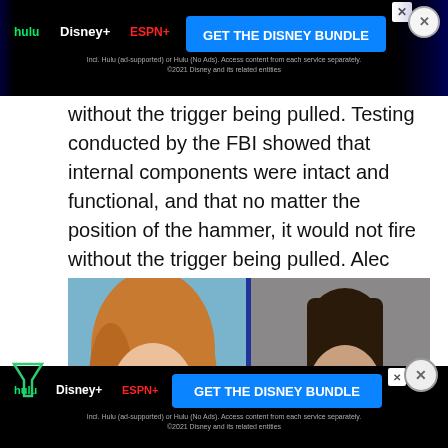[Figure (screenshot): Disney Bundle advertisement banner at top of page]
without the trigger being pulled.  Testing conducted by the FBI showed that internal components were intact and functional, and that no matter the position of the hammer, it would not fire without the trigger being pulled.  Alec Baldwin continues …
[Figure (photo): Two side-by-side mugshot/ID photos of women: left photo shows a smiling woman with curly blonde/red hair against a blue background; right photo shows a woman with straight dark brown hair against a gray background]
[Figure (screenshot): Disney Bundle advertisement banner at bottom of page]